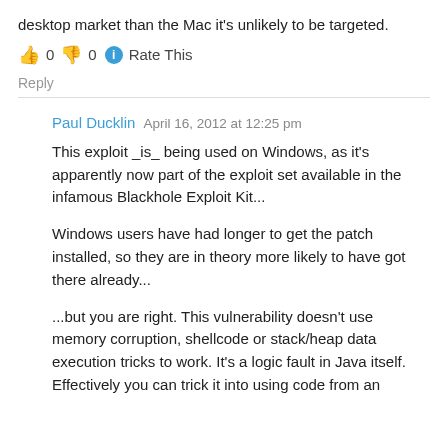desktop market than the Mac it's unlikely to be targeted.
👍 0 👎 0 ℹ Rate This
Reply
Paul Ducklin  April 16, 2012 at 12:25 pm
This exploit _is_ being used on Windows, as it's apparently now part of the exploit set available in the infamous Blackhole Exploit Kit...
Windows users have had longer to get the patch installed, so they are in theory more likely to have got there already...
...but you are right. This vulnerability doesn't use memory corruption, shellcode or stack/heap data execution tricks to work. It's a logic fault in Java itself. Effectively you can trick it into using code from an